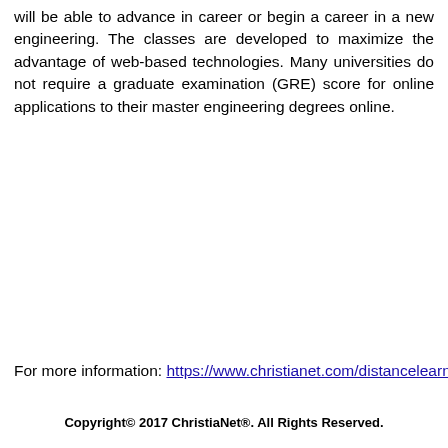will be able to advance in career or begin a career in a new engineering. The classes are developed to maximize the advantage of web-based technologies. Many universities do not require a graduate examination (GRE) score for online applications to their master engineering degrees online.
For more information: https://www.christianet.com/distancelearning
Copyright© 2017 ChristiaNet®. All Rights Reserved.